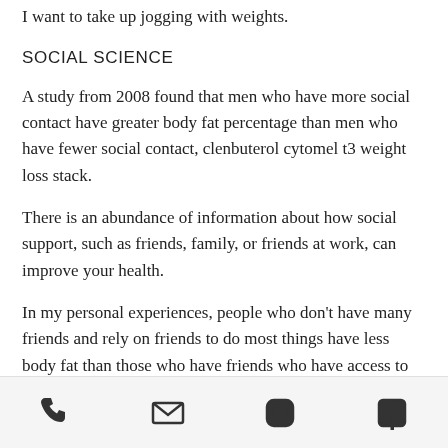I want to take up jogging with weights.
SOCIAL SCIENCE
A study from 2008 found that men who have more social contact have greater body fat percentage than men who have fewer social contact, clenbuterol cytomel t3 weight loss stack.
There is an abundance of information about how social support, such as friends, family, or friends at work, can improve your health.
In my personal experiences, people who don't have many friends and rely on friends to do most things have less body fat than those who have friends who have access to the most social support, competition cutting steroid cycle.
Phone | Email | Instagram | Facebook icons